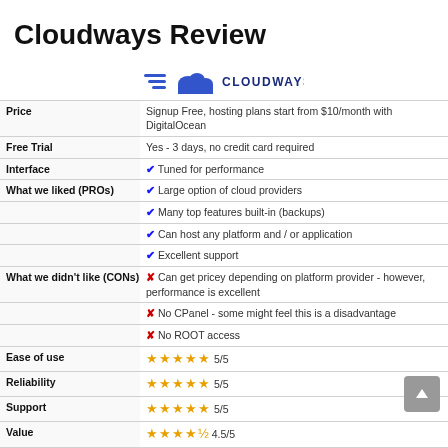Cloudways Review
[Figure (logo): Cloudways logo: cloud icon with speed lines and text CLOUDWAYS in blue/dark blue]
|  |  |
| --- | --- |
| Price | Signup Free, hosting plans start from $10/month with DigitalOcean |
| Free Trial | Yes - 3 days, no credit card required |
| Interface | ✔ Tuned for performance |
| What we liked (PROs) | ✔ Large option of cloud providers |
|  | ✔ Many top features built-in (backups) |
|  | ✔ Can host any platform and / or application |
|  | ✔ Excellent support |
| What we didn't like (CONs) | ✘ Can get pricey depending on platform provider - however, performance is excellent |
|  | ✘ No CPanel - some might feel this is a disadvantage |
|  | ✘ No ROOT access |
| Ease of use | ★★★★★ 5/5 |
| Reliability | ★★★★★ 5/5 |
| Support | ★★★★★ 5/5 |
| Value | ★★★★½ 4.5/5 |
| Overall | ★★★★★ 4.9/5 |
| Website | Visit Website Now → |
Cloudways is a handled cloud hosting platform. It offers